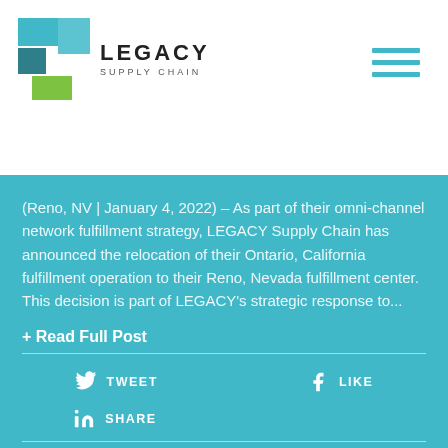[Figure (logo): Legacy Supply Chain logo with teal and green geometric shapes and company name]
(Reno, NV | January 4, 2022) – As part of their omni-channel network fulfillment strategy, LEGACY Supply Chain has announced the relocation of their Ontario, California fulfillment operation to their Reno, Nevada fulfillment center. This decision is part of LEGACY's strategic response to...
+ Read Full Post
TWEET
LIKE
SHARE